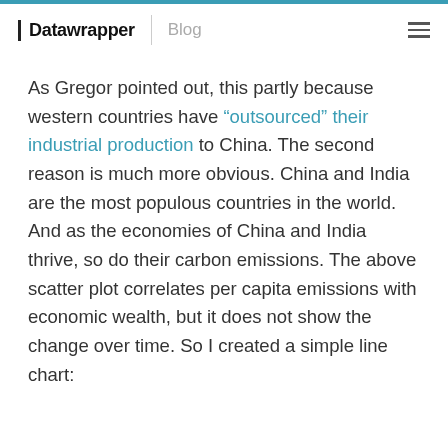Datawrapper | Blog
As Gregor pointed out, this partly because western countries have “outsourced” their industrial production to China. The second reason is much more obvious. China and India are the most populous countries in the world. And as the economies of China and India thrive, so do their carbon emissions. The above scatter plot correlates per capita emissions with economic wealth, but it does not show the change over time. So I created a simple line chart: